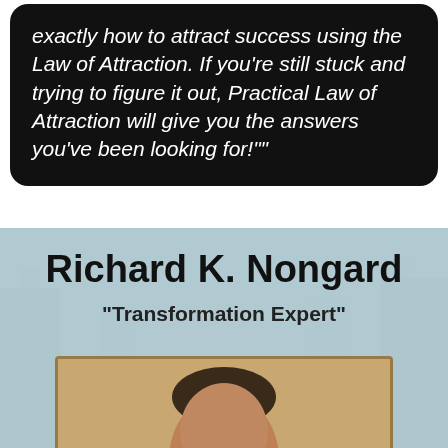exactly how to attract success using the Law of Attraction. If you're still stuck and trying to figure it out, Practical Law of Attraction will give you the answers you've been looking for!""
Richard K. Nongard
"Transformation Expert"
[Figure (photo): Photo of Richard K. Nongard, partially visible, showing top of head with short dark hair against a tan/beige background]